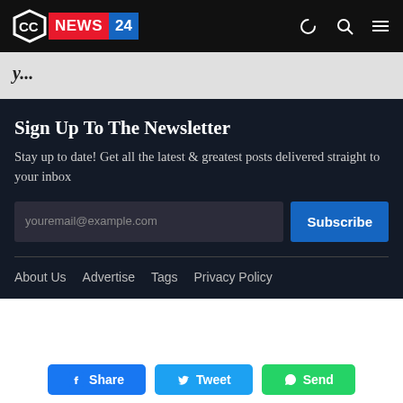CC NEWS 24
Sign Up To The Newsletter
Stay up to date! Get all the latest & greatest posts delivered straight to your inbox
youremail@example.com  Subscribe
About Us  Advertise  Tags  Privacy Policy
Share  Tweet  Send